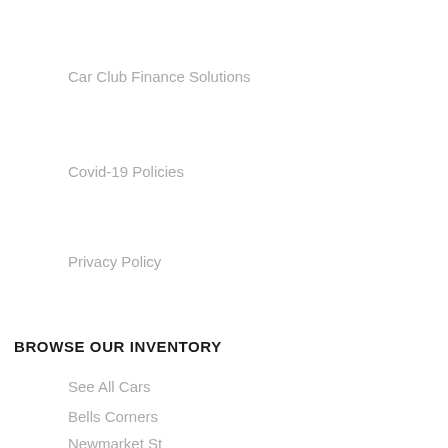Car Club Finance Solutions
Covid-19 Policies
Privacy Policy
BROWSE OUR INVENTORY
See All Cars
Bells Corners
Newmarket St